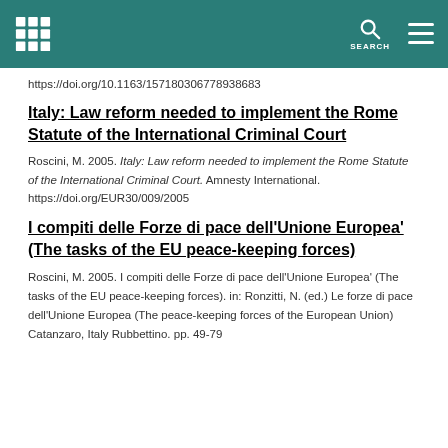SEARCH
https://doi.org/10.1163/157180306778938683
Italy: Law reform needed to implement the Rome Statute of the International Criminal Court
Roscini, M. 2005. Italy: Law reform needed to implement the Rome Statute of the International Criminal Court. Amnesty International. https://doi.org/EUR30/009/2005
I compiti delle Forze di pace dell'Unione Europea' (The tasks of the EU peace-keeping forces)
Roscini, M. 2005. I compiti delle Forze di pace dell'Unione Europea' (The tasks of the EU peace-keeping forces). in: Ronzitti, N. (ed.) Le forze di pace dell'Unione Europea (The peace-keeping forces of the European Union) Catanzaro, Italy Rubbettino. pp. 49-79